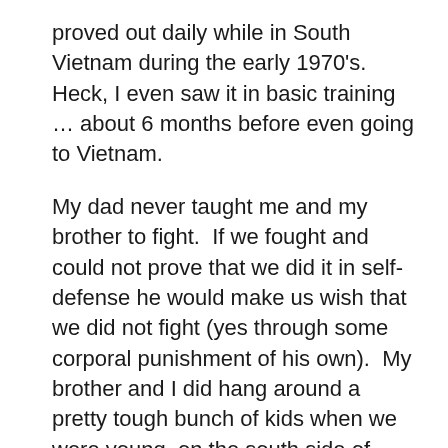proved out daily while in South Vietnam during the early 1970's.  Heck, I even saw it in basic training … about 6 months before even going to Vietnam.
My dad never taught me and my brother to fight.  If we fought and could not prove that we did it in self-defense he would make us wish that we did not fight (yes through some corporal punishment of his own).  My brother and I did hang around a pretty tough bunch of kids when we were young, on the south side of Chicago, and we both did learn to fight – and after getting to the army I am glad we did.